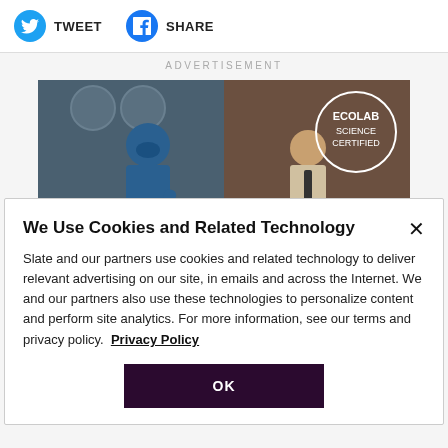[Figure (other): Social media share buttons: Twitter (TWEET) and Facebook (SHARE) icons with labels]
ADVERTISEMENT
[Figure (photo): Ecolab advertisement image showing a medical professional cleaning on the left and a businessperson on the right with text 'BETTER SCIENCE = BETTER BUSINESS' and 'ECOLAB SCIENCE CERTIFIED' badge]
We Use Cookies and Related Technology
Slate and our partners use cookies and related technology to deliver relevant advertising on our site, in emails and across the Internet. We and our partners also use these technologies to personalize content and perform site analytics. For more information, see our terms and privacy policy. Privacy Policy
OK